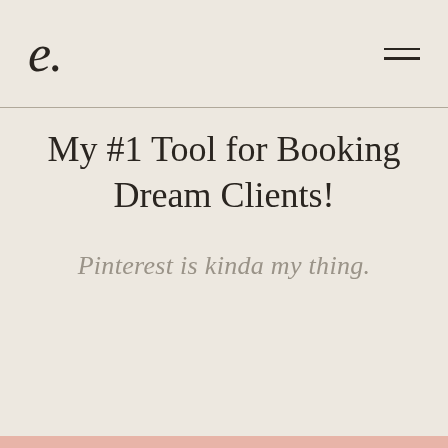e. ≡
My #1 Tool for Booking Dream Clients!
Pinterest is kinda my thing.